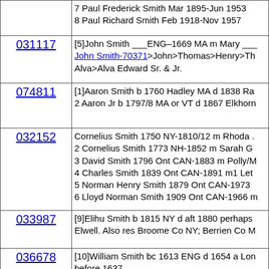| ID | Content |
| --- | --- |
|  | 7 Paul Frederick Smith Mar 1895-Jun 1953
8 Paul Richard Smith Feb 1918-Nov 1957 |
| 031117 | [5]John Smith ___ENG–1669 MA m Mary ___
John Smith-70371>John>Thomas>Henry>Th...
Alva>Alva Edward Sr. & Jr. |
| 074811 | [1]Aaron Smith b 1760 Hadley MA d 1838 Ra...
2 Aaron Jr b 1797/8 MA or VT d 1867 Elkhorn... |
| 032152 | Cornelius Smith 1750 NY-1810/12 m Rhoda ...
2 Cornelius Smith 1773 NH-1852 m Sarah G...
3 David Smith 1796 Ont CAN-1883 m Polly/M...
4 Charles Smith 1839 Ont CAN-1891 m1 Let...
5 Norman Henry Smith 1879 Ont CAN-1973...
6 Lloyd Norman Smith 1909 Ont CAN-1966 m... |
| 033987 | [9]Elihu Smith b 1815 NY d aft 1880 perhaps...
Elwell. Also res Broome Co NY; Berrien Co M... |
| 036678 | [10]William Smith bc 1613 ENG d 1654 a Lon...
before 1637.
2 Nathaniel Smith b 1640 of Haverhill MA d 1...
Samuel C Smith b 15 Jul 1792 in Dracut, Mid...
New London, CT m Sarah 'Sally' Latham. So... |